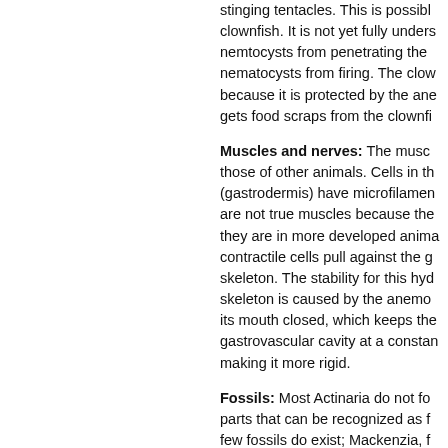stinging tentacles. This is possible for clownfish. It is not yet fully understood how nemtocysts from penetrating the nematocysts from firing. The clown because it is protected by the ane gets food scraps from the clownfi
Muscles and nerves: The musc those of other animals. Cells in th (gastrodermis) have microfilamen are not true muscles because the they are in more developed anima contractile cells pull against the g skeleton. The stability for this hyd skeleton is caused by the anemo its mouth closed, which keeps the gastrovascular cavity at a constan making it more rigid.
Fossils: Most Actinaria do not fo parts that can be recognized as f few fossils do exist; Mackenzia, f Middle Cambrian Burgess Shale is the oldest fossil identified as a
Reproduction & Offspring
Unlike other cnidarians, anemone swimming medusa stage of the li the fertilized egg develops into a